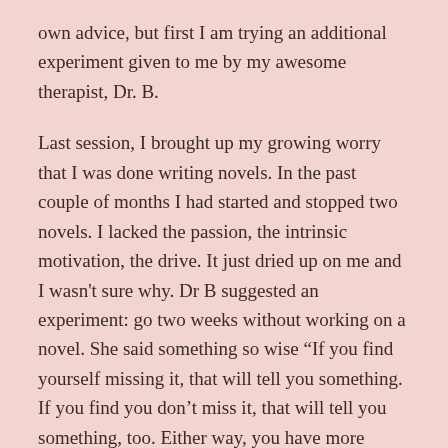own advice, but first I am trying an additional experiment given to me by my awesome therapist, Dr. B.
Last session, I brought up my growing worry that I was done writing novels. In the past couple of months I had started and stopped two novels. I lacked the passion, the intrinsic motivation, the drive. It just dried up on me and I wasn't sure why. Dr B suggested an experiment: go two weeks without working on a novel. She said something so wise “If you find yourself missing it, that will tell you something. If you find you don’t miss it, that will tell you something, too. Either way, you have more information.”
Isn’t she a genius? Because I have come to believe that there may be a time when I stop writing novels. I’m not sure when, but I can see now that day might come.